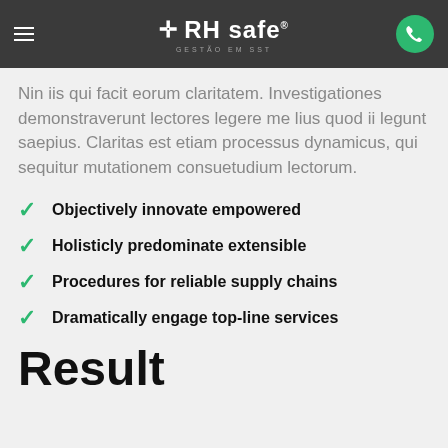RH safe — GESTÃO EM SST
Nin iis qui facit eorum claritatem. Investigationes demonstraverunt lectores legere me lius quod ii legunt saepius. Claritas est etiam processus dynamicus, qui sequitur mutationem consuetudium lectorum.
Objectively innovate empowered
Holisticly predominate extensible
Procedures for reliable supply chains
Dramatically engage top-line services
Result